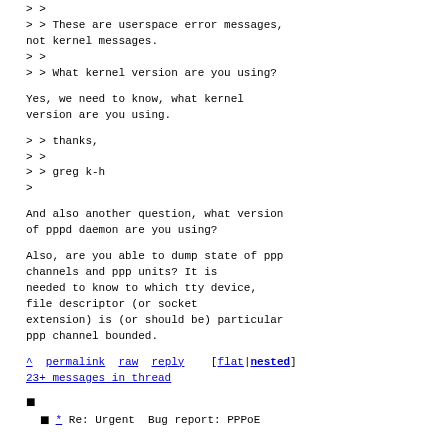> >
> > These are userspace error messages, not kernel messages.
> >
> > What kernel version are you using?
Yes, we need to know, what kernel version are you using.
> > thanks,
> >
> > greg k-h
>
And also another question, what version of pppd daemon are you using?
Also, are you able to dump state of ppp channels and ppp units? It is needed to know to which tty device, file descriptor (or socket extension) is (or should be) particular ppp channel bounded.
^ permalink raw reply [flat|nested] 23+ messages in thread
* Re: Urgent Bug report: PPPoE